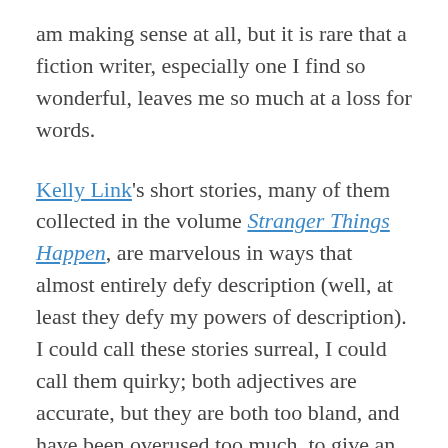am making sense at all, but it is rare that a fiction writer, especially one I find so wonderful, leaves me so much at a loss for words.
Kelly Link's short stories, many of them collected in the volume Stranger Things Happen, are marvelous in ways that almost entirely defy description (well, at least they defy my powers of description). I could call these stories surreal, I could call them quirky; both adjectives are accurate, but they are both too bland, and have been overused too much, to give an accurate impression of the singularity of Link's prose, and the acuteness of her vision. All her stories spell out compelling dreamlike scenarios, with